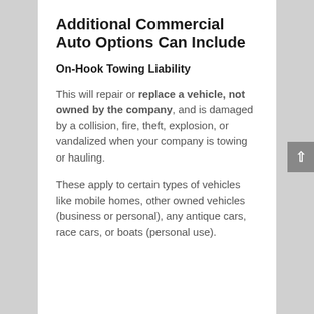Additional Commercial Auto Options Can Include
On-Hook Towing Liability
This will repair or replace a vehicle, not owned by the company, and is damaged by a collision, fire, theft, explosion, or vandalized when your company is towing or hauling.
These apply to certain types of vehicles like mobile homes, other owned vehicles (business or personal), any antique cars, race cars, or boats (personal use).